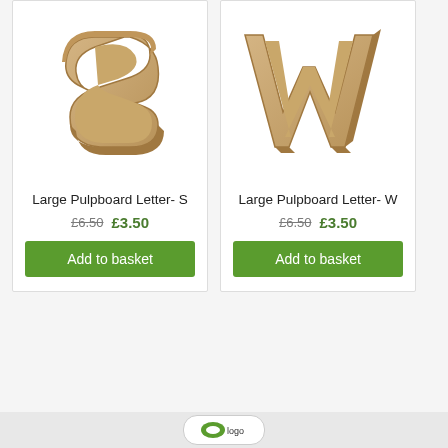[Figure (photo): 3D cardboard/pulpboard letter S in tan/kraft color, standing upright]
Large Pulpboard Letter- S
£6.50  £3.50
Add to basket
[Figure (photo): 3D cardboard/pulpboard letter W in tan/kraft color, standing upright]
Large Pulpboard Letter- W
£6.50  £3.50
Add to basket